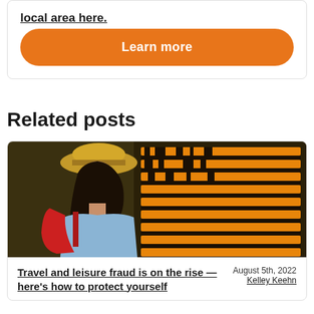local area here.
Learn more
Related posts
[Figure (photo): Young woman with hat and red backpack looking up at an orange departure board in a train station]
Travel and leisure fraud is on the rise — here's how to protect yourself
August 5th, 2022 Kelley Keehn